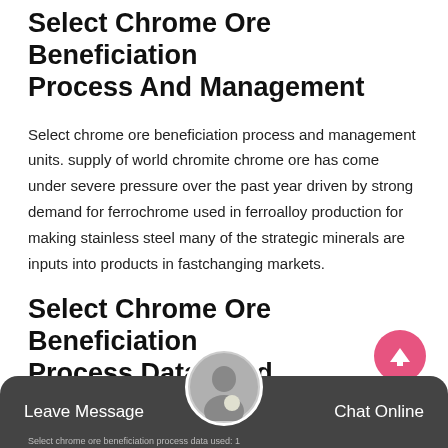Select Chrome Ore Beneficiation Process And Management
Select chrome ore beneficiation process and management units. supply of world chromite chrome ore has come under severe pressure over the past year driven by strong demand for ferrochrome used in ferroalloy production for making stainless steel many of the strategic minerals are inputs into products in fastchanging markets.
Select Chrome Ore Beneficiation Process Data Used
Leave Message   Chat Online   Select chrome ore beneficiation process data used: 1